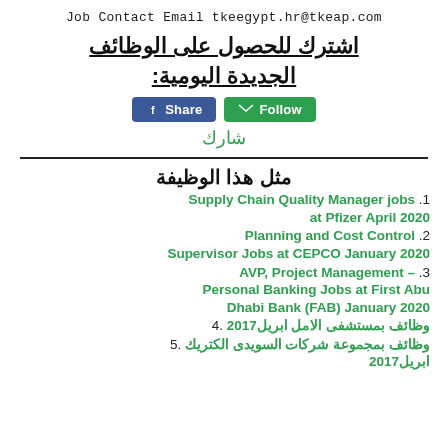Job Contact Email tkeegypt.hr@tkeap.com
اشترك للحصول على الوظائف الجديدة اليومية:
[Figure (other): Facebook Share button and Follow button]
شارك
مثل هذا الوظيفة
.1 Supply Chain Quality Manager jobs at Pfizer April 2020
.2 Planning and Cost Control Supervisor Jobs at CEPCO January 2020
.3 AVP, Project Management – Personal Banking Jobs at First Abu Dhabi Bank (FAB) January 2020
.4 وظائف بمستشفى الامل ابريل2017
.5 وظائف بمجموعة شركات السويدى الكتريك ابريل2017